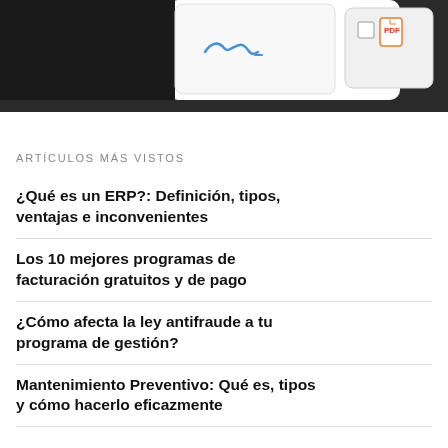[Figure (screenshot): Top partial screenshot showing a signature UI element and a PDF icon on a dark background]
ARTÍCULOS MÁS VISTOS
¿Qué es un ERP?: Definición, tipos, ventajas e inconvenientes
Los 10 mejores programas de facturación gratuitos y de pago
¿Cómo afecta la ley antifraude a tu programa de gestión?
Mantenimiento Preventivo: Qué es, tipos y cómo hacerlo eficazmente